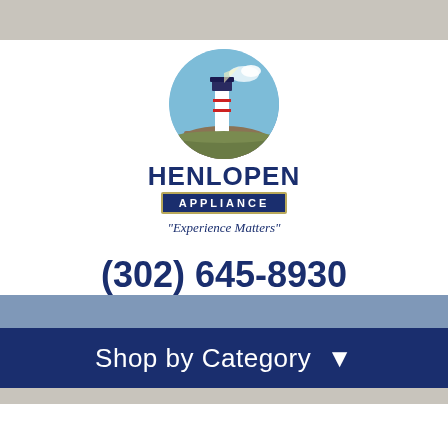[Figure (logo): Henlopen Appliance logo with lighthouse in circular blue background, brand name HENLOPEN in large dark navy font, APPLIANCE badge below, tagline 'Experience Matters']
(302) 645-8930
Shop by Category ▾
[Figure (photo): Bottom portion of a stainless steel dishwasher control panel and a small gray thumbnail square]